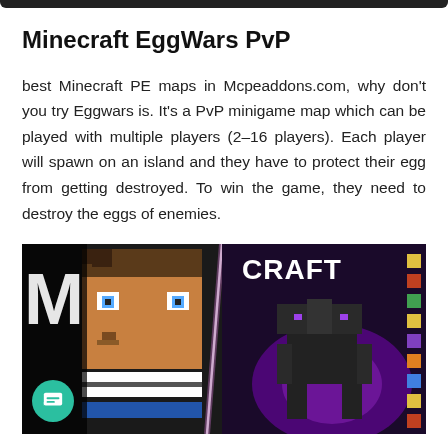Minecraft EggWars PvP
best Minecraft PE maps in Mcpeaddons.com, why don't you try Eggwars is. It's a PvP minigame map which can be played with multiple players (2–16 players). Each player will spawn on an island and they have to protect their egg from getting destroyed. To win the game, they need to destroy the eggs of enemies.
[Figure (photo): Minecraft EggWars PvP promotional image showing a Minecraft character on the left and a dark Ender Dragon or wither-type creature on the right with purple glow effects, with 'CRAFT' text visible in the background]